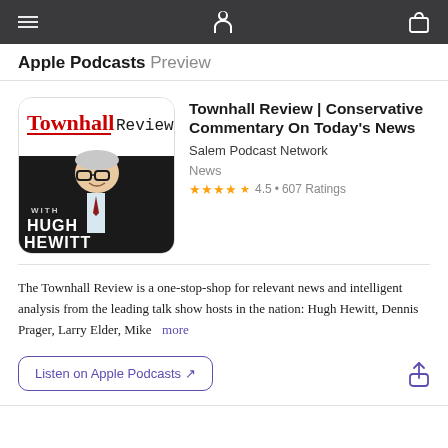Apple Podcasts Preview
[Figure (illustration): Townhall Review podcast artwork showing Hugh Hewitt with text 'Townhall Review WITH HUGH HEWITT']
Townhall Review | Conservative Commentary On Today's News
Salem Podcast Network
News
★★★★★ 4.5 • 607 Ratings
The Townhall Review is a one-stop-shop for relevant news and intelligent analysis from the leading talk show hosts in the nation: Hugh Hewitt, Dennis Prager, Larry Elder, Mike more
Listen on Apple Podcasts ↗